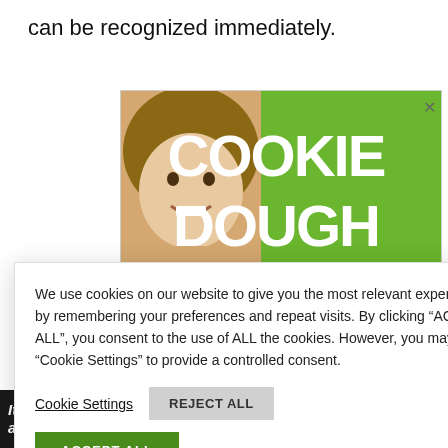can be recognized immediately.
[Figure (screenshot): Green advertisement banner for cookie dough fundraiser showing a smiling girl and large white text reading COOKIE DOUGH]
We use cookies on our website to give you the most relevant experience by remembering your preferences and repeat visits. By clicking “ACCEPT ALL”, you consent to the use of ALL the cookies. However, you may visit "Cookie Settings" to provide a controlled consent.
Cookie Settings  REJECT ALL  ACCEPT ALL
[Figure (screenshot): Bottom banner advertisement: It’s time to talk about Alzheimer’s. with Learn More button and Alzheimer’s Association logo]